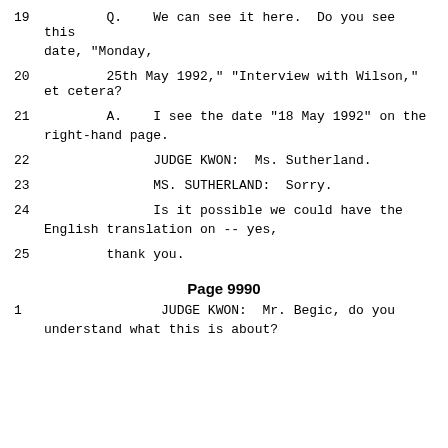19        Q.    We can see it here.  Do you see this date, "Monday,
20        25th May 1992," "Interview with Wilson," et cetera?
21        A.    I see the date "18 May 1992" on the right-hand page.
22              JUDGE KWON:  Ms. Sutherland.
23              MS. SUTHERLAND:  Sorry.
24              Is it possible we could have the English translation on -- yes,
25        thank you.
Page 9990
1               JUDGE KWON:  Mr. Begic, do you understand what this is about?